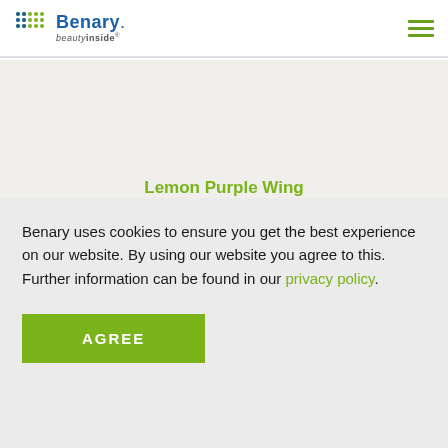Benary. beautyinside
Lemon Purple Wing
Benary uses cookies to ensure you get the best experience on our website. By using our website you agree to this. Further information can be found in our privacy policy.
AGREE